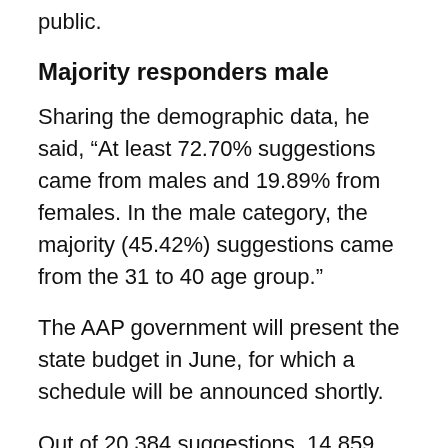public.
Majority responders male
Sharing the demographic data, he said, “At least 72.70% suggestions came from males and 19.89% from females. In the male category, the majority (45.42%) suggestions came from the 31 to 40 age group.”
The AAP government will present the state budget in June, for which a schedule will be announced shortly.
Out of 20,384 suggestions, 14,859 were received on Janta Portal, 5,025 via emails, and 500 letters and memorandums were received manually.